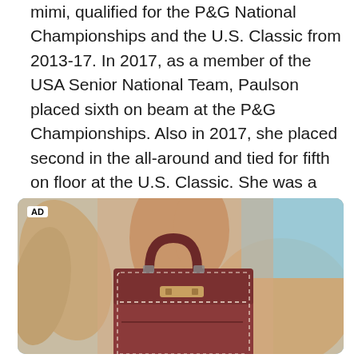mimi, qualified for the P&G National Championships and the U.S. Classic from 2013-17. In 2017, as a member of the USA Senior National Team, Paulson placed sixth on beam at the P&G Championships. Also in 2017, she placed second in the all-around and tied for fifth on floor at the U.S. Classic. She was a member of the USA team that won the gold at the City of Jesolo Trophy in Italy, where she tied for first on floor and took third in the all-around.
[Figure (photo): Advertisement photo showing a person holding a brown leather handbag with stitched detailing, against a sandy/beige background with blue sky. AD label in top left corner.]